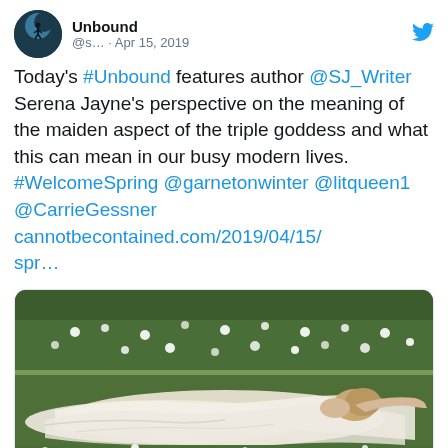[Figure (screenshot): Twitter/social media post screenshot showing a tweet from @Unbound account dated Apr 15, 2019, with text about #Unbound featuring author @SJ_Writer Serena Jayne's perspective on the maiden aspect of the triple goddess, with hashtags #WelcomeSpring and mentions, a link preview image of a painting showing a woman in a white dress lying in a flower field, with cannotbecontained.com domain and title 'Spring into a Fresh Start']